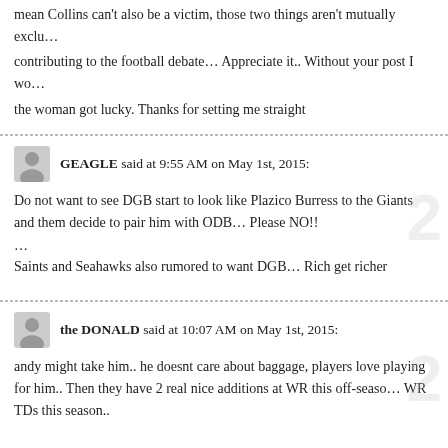mean Collins can't also be a victim, those two things aren't mutually exclu… contributing to the football debate… Appreciate it.. Without your post I wo… the woman got lucky. Thanks for setting me straight
GEAGLE said at 9:55 AM on May 1st, 2015:
Do not want to see DGB start to look like Plazico Burress to the Giants and them decide to pair him with ODB… Please NO!!
…
Saints and Seahawks also rumored to want DGB… Rich get richer
the DONALD said at 10:07 AM on May 1st, 2015:
andy might take him.. he doesnt care about baggage, players love playing for him.. Then they have 2 real nice additions at WR this off-seaso… WR TDs this season..